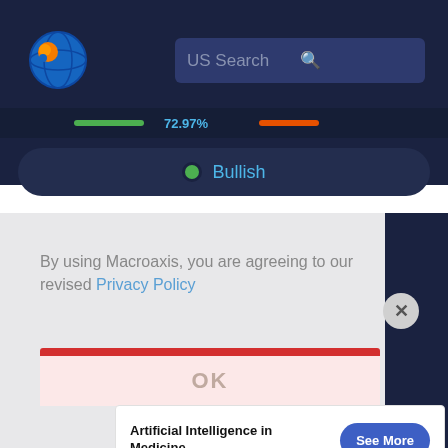[Figure (logo): Macroaxis globe logo with orange and blue colors]
US Search
[Figure (screenshot): Chart strip showing green bar, 72.97%, orange bar sentiment indicator]
Bullish
By using Macroaxis, you are agreeing to our revised Privacy Policy
OK
Artificial Intelligence in Medicine
See More